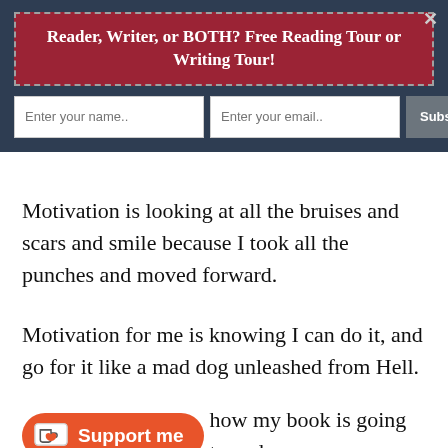[Figure (screenshot): Popup subscription banner with dark blue background, red dashed-border box reading 'Reader, Writer, or BOTH? Free Reading Tour or Writing Tour!', a name input field, email input field, and a 'Subscribe Now' button. A close X is in the top right.]
Motivation is looking at all the bruises and scars and smile because I took all the punches and moved forward.
Motivation for me is knowing I can do it, and go for it like a mad dog unleashed from Hell.
how my book is going to end, but in the meantime I'm having a blast writing it, full